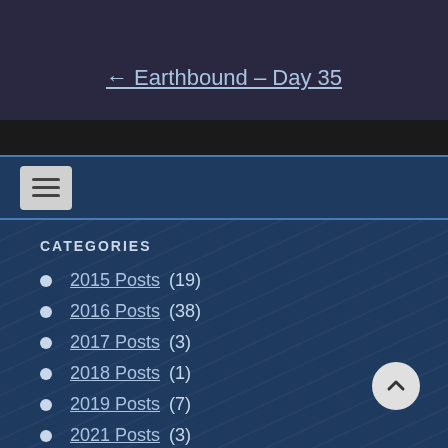← Earthbound – Day 35
CATEGORIES
2015 Posts (19)
2016 Posts (38)
2017 Posts (3)
2018 Posts (1)
2019 Posts (7)
2021 Posts (3)